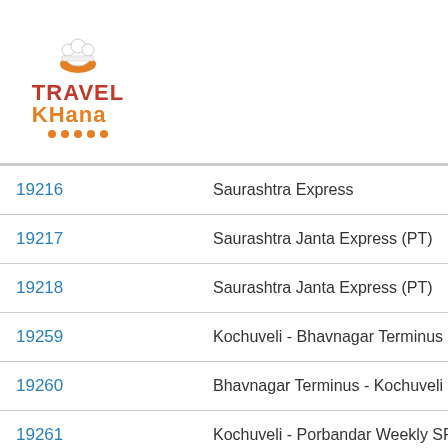[Figure (logo): Travel Khana logo with chef hat icon, red TRAVEL text, orange KHANA text, and orange dots underline]
| 19216 | Saurashtra Express |
| 19217 | Saurashtra Janta Express (PT) |
| 19218 | Saurashtra Janta Express (PT) |
| 19259 | Kochuveli - Bhavnagar Terminus Express (PT) |
| 19260 | Bhavnagar Terminus - Kochuveli Express (PT) |
| 19261 | Kochuveli - Porbandar Weekly SF Express (P |
| 19262 | Porbandar - Kochuveli Weekly SF Express (P |
| 19309 | Shanti Express (PT) |
| 19310 | Shanti Express (PT) |
| 19319 | Veraval - Indore Mahamana Express |